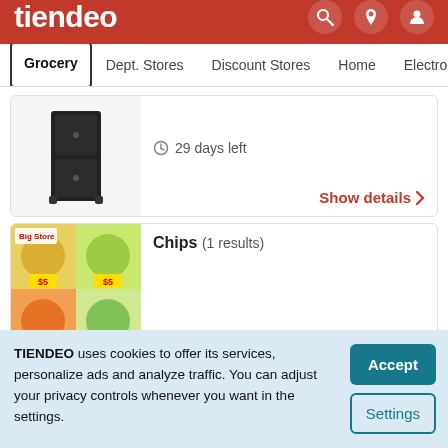tiendeo
Grocery | Dept. Stores | Discount Stores | Home | Electronic
29 days left
Show details >
Chips (1 results)
TIENDEO uses cookies to offer its services, personalize ads and analyze traffic. You can adjust your privacy controls whenever you want in the settings.
Accept
Settings